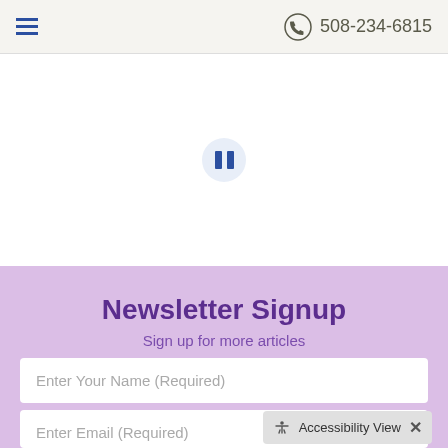☰  508-234-6815
[Figure (other): Pause button: circular light blue button with two dark blue vertical bars (pause icon) centered in white area]
Newsletter Signup
Sign up for more articles
Enter Your Name (Required)
Enter Email (Required)
Accessibility View